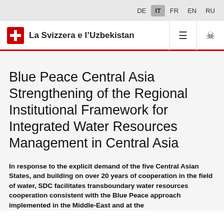DE  IT  FR  EN  RU
La Svizzera e l'Uzbekistan
Blue Peace Central Asia Strengthening of the Regional Institutional Framework for Integrated Water Resources Management in Central Asia
In response to the explicit demand of the five Central Asian States, and building on over 20 years of cooperation in the field of water, SDC facilitates transboundary water resources cooperation consistent with the Blue Peace approach implemented in the Middle-East and at the